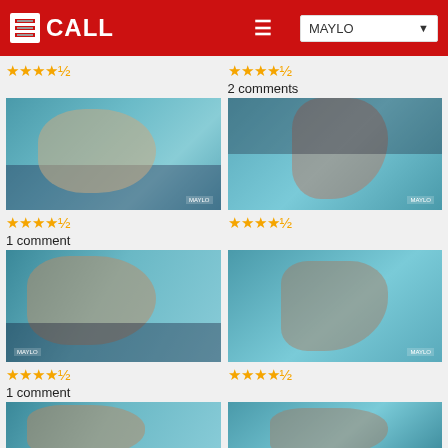CALL / MAYLO
★★★★½
★★★★½ 2 comments
[Figure (photo): Woman in black outfit leaning against teal wall, close-up face shot with MAYLO watermark]
[Figure (photo): Woman in black dress reaching up against teal wall with MAYLO watermark]
★★★★½ 1 comment
★★★★½
[Figure (photo): Woman with long hair smiling in black outfit against teal background with MAYLO watermark]
[Figure (photo): Woman in black outfit crouching beside pole in teal room with MAYLO watermark]
★★★★½ 1 comment
★★★★½
[Figure (photo): Woman in black outfit in teal room, partial view]
[Figure (photo): Woman close-up face in teal room]